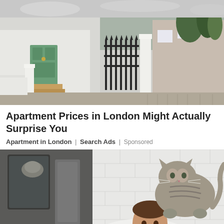[Figure (photo): Street view of a row of terraced houses in London with white painted brick walls, a green front door, iron gate, and plants. A long street of similar houses recedes into the background.]
Apartment Prices in London Might Actually Surprise You
Apartment in London | Search Ads | Sponsored
[Figure (photo): A smiling bearded man in a white t-shirt in a bathroom with white subway tiles and a mirror. A tabby cat is perched on his shoulders/back, looking down at him.]